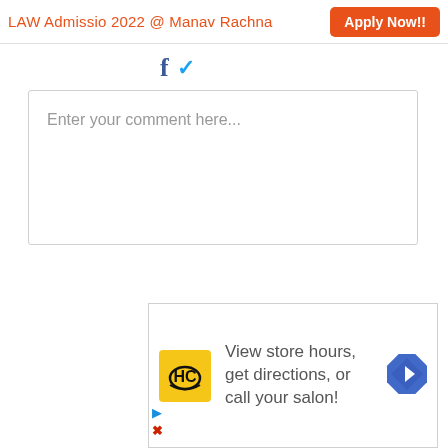LAW Admissio 2022 @ Manav Rachna   Apply Now!!
[Figure (other): Social media icons: Facebook and Twitter]
Enter your comment here...
[Figure (other): HC Hair Club advertisement with logo: View store hours, get directions, or call your salon!]